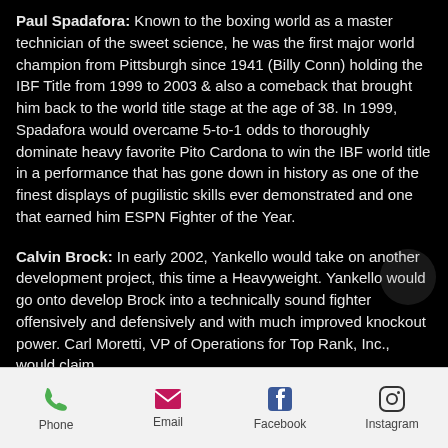Paul Spadafora:  Known to the boxing world as a master technician of the sweet science, he was the first major world champion from Pittsburgh since 1941 (Billy Conn) holding the IBF Title from 1999 to 2003 & also a comeback that brought him back to the world title stage at the age of 38.  In 1999, Spadafora would overcame 5-to-1 odds to thoroughly dominate heavy favorite Pito Cardona to win the IBF world title in a performance that has gone down in history as one of the finest displays of pugilistic skills ever demonstrated and one that earned him ESPN Fighter of the Year.
Calvin Brock:  In early 2002, Yankello would take on another development project, this time a Heavyweight.  Yankello would go onto develop Brock into a technically sound fighter offensively and defensively and with much improved knockout power.  Carl Moretti, VP of Operations for Top Rank, Inc., would claim that...
Phone   Email   Facebook   Instagram